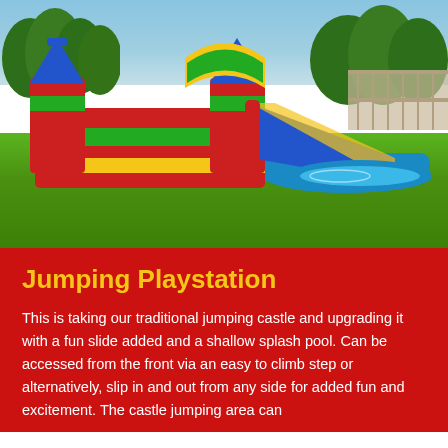[Figure (photo): A colorful inflatable bouncy castle with slide and splash pool on green grass with trees and fence in background]
Jumping Playstation
This is taking our traditional jumping castle and upgrading it with a fun slide added and a shallow splash pool. Can be accessed from the front via an easy to climb step or alternatively, slip in and out from any side for added fun and excitement. The castle jumping area can